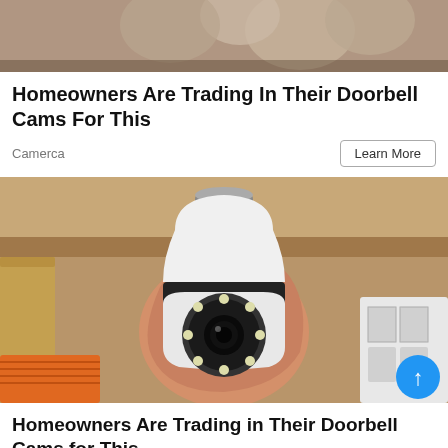[Figure (photo): Top portion of a security camera or doorbell camera product image, cropped at the top of the page]
Homeowners Are Trading In Their Doorbell Cams For This
Camerca
Learn More
[Figure (photo): A hand holding a white light bulb security camera with a screw base at the top. The camera has a round lens housing with multiple LED lights around it. A blue scroll-to-top button is visible in the bottom right corner.]
Homeowners Are Trading in Their Doorbell Cams for This.